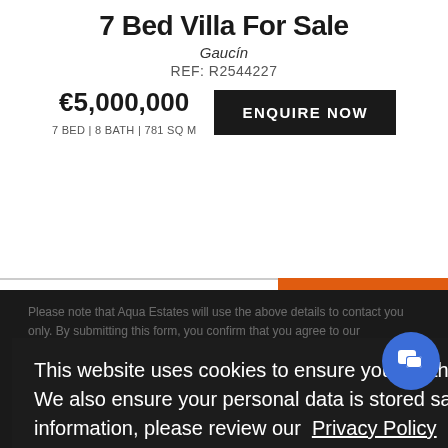7 Bed Villa For Sale
Gaucín
REF: R2544227
€5,000,000
7 BED | 8 BATH | 781 SQ M
ENQUIRE NOW
This website uses cookies to ensure you get the best experience on our website. We also ensure your personal data is stored safely and securely. For more information, please review our  Privacy Policy  or Terms & Conditions
Got it!